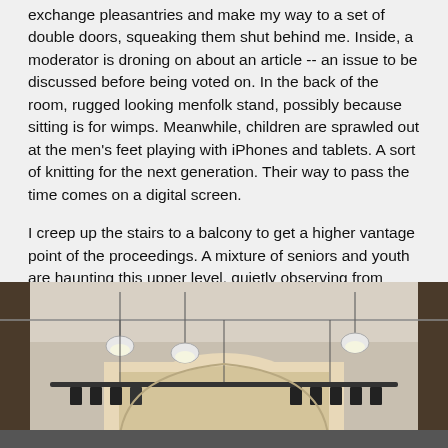exchange pleasantries and make my way to a set of double doors, squeaking them shut behind me. Inside, a moderator is droning on about an article -- an issue to be discussed before being voted on. In the back of the room, rugged looking menfolk stand, possibly because sitting is for wimps. Meanwhile, children are sprawled out at the men's feet playing with iPhones and tablets. A sort of knitting for the next generation. Their way to pass the time comes on a digital screen.
I creep up the stairs to a balcony to get a higher vantage point of the proceedings. A mixture of seniors and youth are haunting this upper level, quietly observing from above and avoiding the din of debate below. I find myself enjoying the elevated position and the angles it provides, being among these ghostly observers in a dusk-like light. As the proceedings carry on, the differences in procedure each town adheres to become apparent.
[Figure (photo): Interior of a hall with arched ceiling, hanging pendant lights, a lighting rig with stage lights, and an archway revealing a decorated wall beyond.]